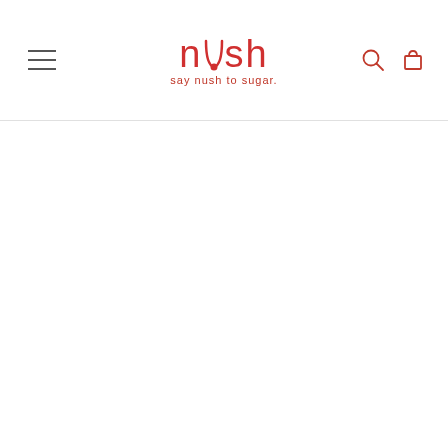nush — say nush to sugar. [navigation header with hamburger menu, logo, search and cart icons]
[Figure (other): Dark gray background section with a large green rectangle (olive/sage green color) partially visible, appearing to be a product or promotional image area.]